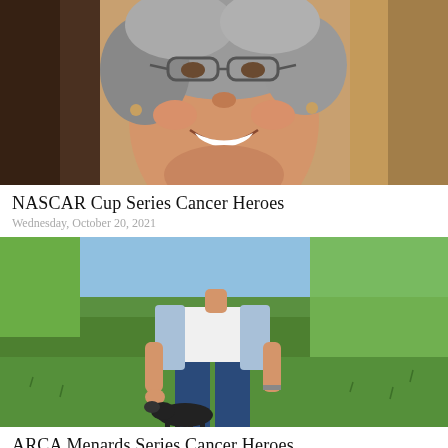[Figure (photo): Close-up photo of a smiling elderly woman with curly gray hair and glasses, warm outdoor background]
NASCAR Cup Series Cancer Heroes
Wednesday, October 20, 2021
[Figure (photo): Photo of a woman standing on a green lawn wearing jeans and a white top with light blue cardigan, bending slightly toward a small black dog]
ARCA Menards Series Cancer Heroes
Wednesday, October 20, 2021